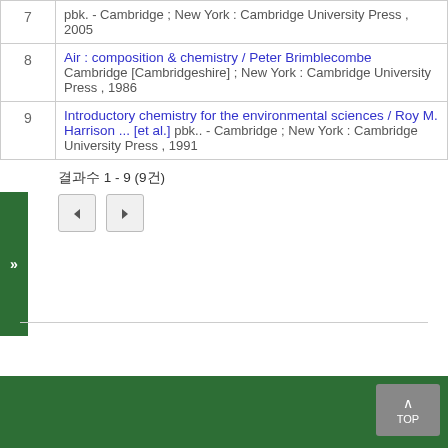| # | Title / Publication info |
| --- | --- |
| 7 | pbk. - Cambridge ; New York : Cambridge University Press , 2005 |
| 8 | Air : composition & chemistry / Peter Brimblecombe
Cambridge [Cambridgeshire] ; New York : Cambridge University Press , 1986 |
| 9 | Introductory chemistry for the environmental sciences / Roy M. Harrison ... [et al.] pbk.. - Cambridge ; New York : Cambridge University Press , 1991 |
결과수 1 - 9 (9건)
◄ ►
TOP